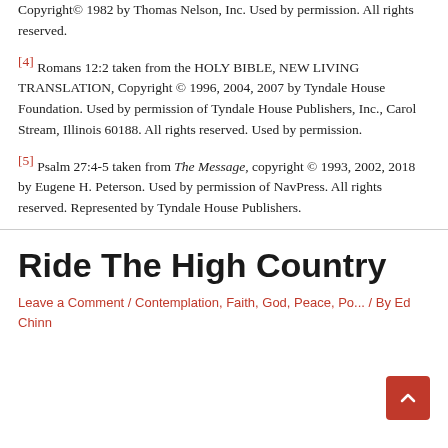Copyright© 1982 by Thomas Nelson, Inc. Used by permission. All rights reserved.
[4] Romans 12:2 taken from the HOLY BIBLE, NEW LIVING TRANSLATION, Copyright © 1996, 2004, 2007 by Tyndale House Foundation. Used by permission of Tyndale House Publishers, Inc., Carol Stream, Illinois 60188. All rights reserved. Used by permission.
[5] Psalm 27:4-5 taken from The Message, copyright © 1993, 2002, 2018 by Eugene H. Peterson. Used by permission of NavPress. All rights reserved. Represented by Tyndale House Publishers.
Ride The High Country
Leave a Comment / Contemplation, Faith, God, Peace, Politics / By Ed Chinn